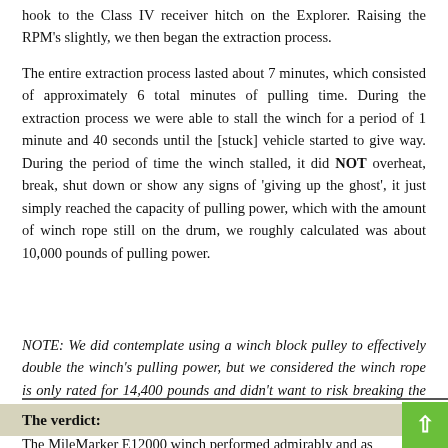hook to the Class IV receiver hitch on the Explorer. Raising the RPM's slightly, we then began the extraction process.
The entire extraction process lasted about 7 minutes, which consisted of approximately 6 total minutes of pulling time. During the extraction process we were able to stall the winch for a period of 1 minute and 40 seconds until the [stuck] vehicle started to give way. During the period of time the winch stalled, it did NOT overheat, break, shut down or show any signs of 'giving up the ghost', it just simply reached the capacity of pulling power, which with the amount of winch rope still on the drum, we roughly calculated was about 10,000 pounds of pulling power.
NOTE: We did contemplate using a winch block pulley to effectively double the winch's pulling power, but we considered the winch rope is only rated for 14,400 pounds and didn't want to risk breaking the cable and injuring someone or something.
The verdict:
The MileMarker E12000 winch performed admirably and as